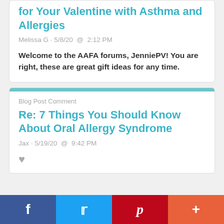for Your Valentine with Asthma and Allergies
Melissa G · 5/8/20 @ 2:12 PM
Welcome to the AAFA forums, JenniePV! You are right, these are great gift ideas for any time.
Blog Post Comment
Re: 7 Things You Should Know About Oral Allergy Syndrome
Jax · 5/19/20 @ 9:42 PM